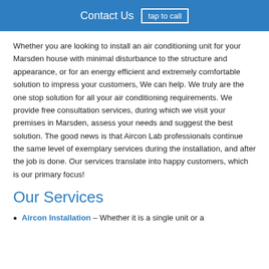Contact Us  tap to call
Whether you are looking to install an air conditioning unit for your Marsden house with minimal disturbance to the structure and appearance, or for an energy efficient and extremely comfortable solution to impress your customers, We can help. We truly are the one stop solution for all your air conditioning requirements. We provide free consultation services, during which we visit your premises in Marsden, assess your needs and suggest the best solution. The good news is that Aircon Lab professionals continue the same level of exemplary services during the installation, and after the job is done. Our services translate into happy customers, which is our primary focus!
Our Services
Aircon Installation – Whether it is a single unit or a